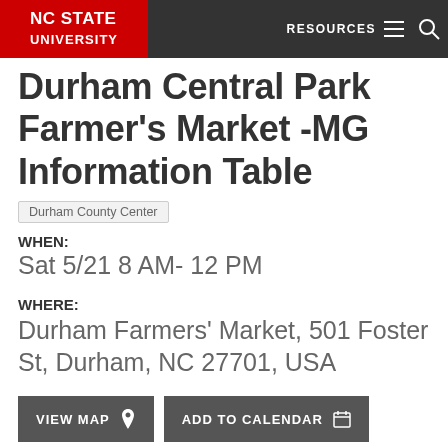NC STATE UNIVERSITY | RESOURCES
Durham Central Park Farmer's Market -MG Information Table
Durham County Center
WHEN:
Sat 5/21 8 AM- 12 PM
WHERE:
Durham Farmers' Market, 501 Foster St, Durham, NC 27701, USA
VIEW MAP | ADD TO CALENDAR
3 MONTHS AGO
MAY